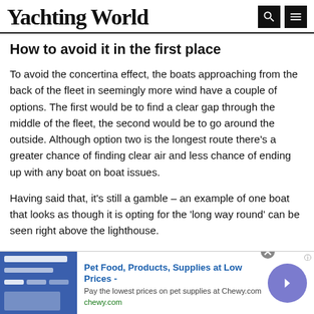Yachting World
How to avoid it in the first place
To avoid the concertina effect, the boats approaching from the back of the fleet in seemingly more wind have a couple of options. The first would be to find a clear gap through the middle of the fleet, the second would be to go around the outside. Although option two is the longest route there’s a greater chance of finding clear air and less chance of ending up with any boat on boat issues.
Having said that, it’s still a gamble – an example of one boat that looks as though it is opting for the ‘long way round’ can be seen right above the lighthouse.
[Figure (other): Advertisement banner for Chewy.com: Pet Food, Products, Supplies at Low Prices. Blue image placeholder on left, ad text in center, circular arrow button on right.]